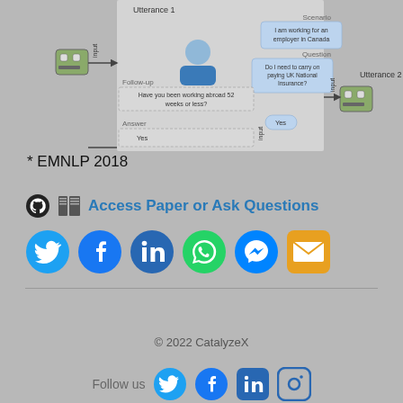[Figure (flowchart): Dialog system diagram showing Utterance 1 with robot, person with scenario/question bubbles, follow-up box, answer box, Utterance 2 with robot. Labels: Scenario, Question, Follow-up, Answer, Utterance 1, Utterance 2, input arrows.]
* EMNLP 2018
Access Paper or Ask Questions
[Figure (infographic): Social sharing icons: Twitter, Facebook, LinkedIn, WhatsApp, Messenger, Email]
© 2022 CatalyzeX
[Figure (infographic): Follow us icons: Twitter, Facebook, LinkedIn, Instagram]